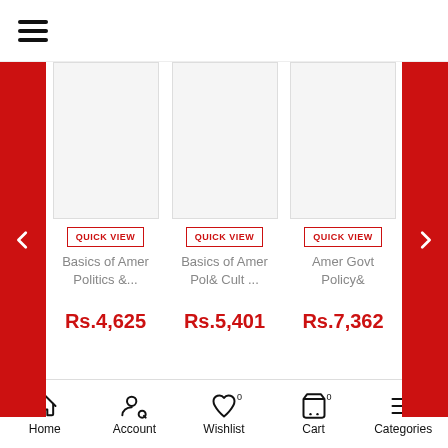[Figure (screenshot): Hamburger menu icon (three horizontal lines) in top-left header area]
[Figure (screenshot): Left navigation arrow (chevron left) in red background]
[Figure (screenshot): Product card: Basics of Amer Politics &... with QUICK VIEW button, price Rs.4,625]
[Figure (screenshot): Product card: Basics of Amer Pol& Cult ... with QUICK VIEW button, price Rs.5,401]
[Figure (screenshot): Product card: Amer Govt Policy& with QUICK VIEW button, price Rs.7,362]
[Figure (screenshot): Right navigation arrow (chevron right) in red background]
Top Reviews
Be the first to write a review on this book Basics Amer Politics& Voices Diss& LM Part Pk
[Figure (screenshot): Bottom navigation bar with Home, Account, Wishlist (0), Cart (0), Categories icons]